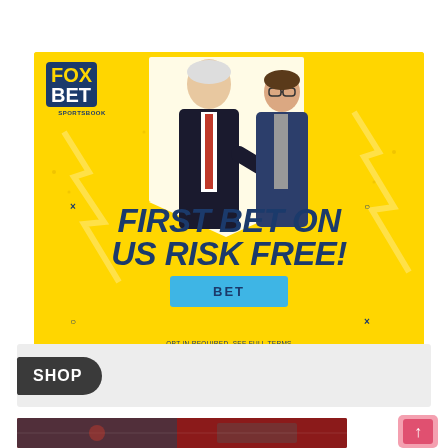[Figure (advertisement): FOX BET Sportsbook advertisement on yellow background with lightning bolts. Two men in suits pointing at viewer. Text reads: FIRST BET ON US RISK FREE! with a blue BET button. OPT IN REQUIRED. SEE FULL TERMS at bottom.]
SHOP
[Figure (photo): Partial view of a sports-related image with red background, partially visible at the bottom of the page.]